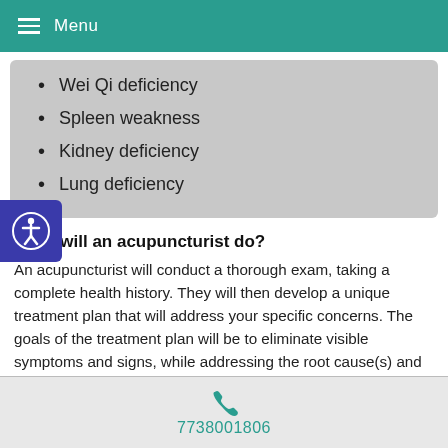Menu
Wei Qi deficiency
Spleen weakness
Kidney deficiency
Lung deficiency
What will an acupuncturist do?
An acupuncturist will conduct a thorough exam, taking a complete health history. They will then develop a unique treatment plan that will address your specific concerns. The goals of the treatment plan will be to eliminate visible symptoms and signs, while addressing the root cause(s) and underlying imbalances affecting the quality and quantity of Wei Qi.
7738001806